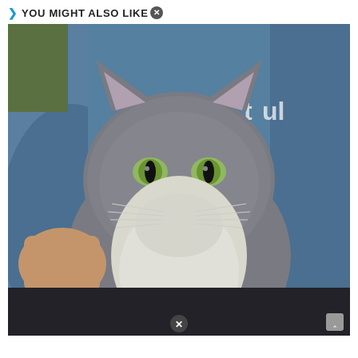YOU MIGHT ALSO LIKE
[Figure (photo): A gray fluffy cat with green eyes and white chest/chin area, being held by a person wearing a blue sweatshirt. The cat is looking directly at the camera with a stern expression.]